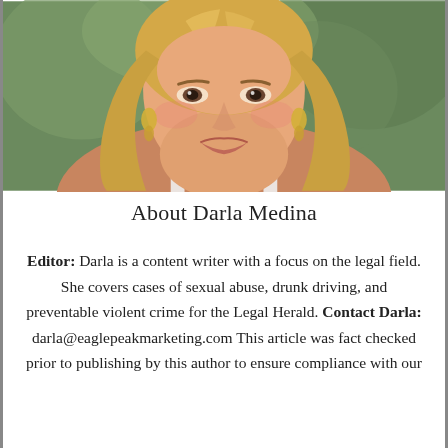[Figure (photo): Headshot photo of Darla Medina, a blonde woman smiling, wearing a white tank top with thin straps and earrings, photographed outdoors with greenery in background.]
About Darla Medina
Editor: Darla is a content writer with a focus on the legal field. She covers cases of sexual abuse, drunk driving, and preventable violent crime for the Legal Herald. Contact Darla: darla@eaglepeakmarketing.com This article was fact checked prior to publishing by this author to ensure compliance with our